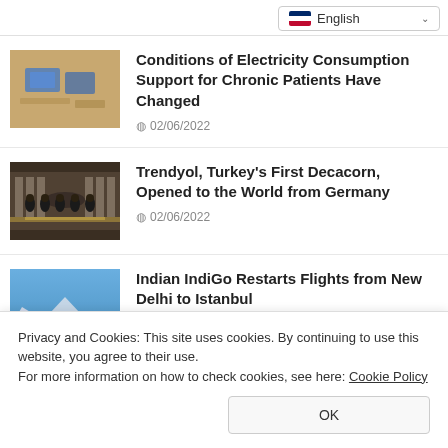English
[Figure (photo): Thumbnail image of documents/passports on a table]
Conditions of Electricity Consumption Support for Chronic Patients Have Changed
02/06/2022
[Figure (photo): Thumbnail image of group of people in suits standing together]
Trendyol, Turkey's First Decacorn, Opened to the World from Germany
02/06/2022
[Figure (photo): Thumbnail image of airplane (IndiGo airline)]
Indian IndiGo Restarts Flights from New Delhi to Istanbul
Privacy and Cookies: This site uses cookies. By continuing to use this website, you agree to their use.
For more information on how to check cookies, see here: Cookie Policy
OK